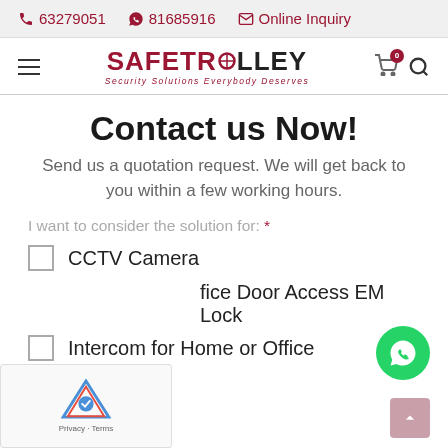63279051  81685916  Online Inquiry
[Figure (logo): SafeTrolley logo with tagline 'Security Solutions Everybody Deserves']
Contact us Now!
Send us a quotation request. We will get back to you within a few working hours.
I want to consider the solution for: *
CCTV Camera
fice Door Access EM Lock
Intercom for Home or Office